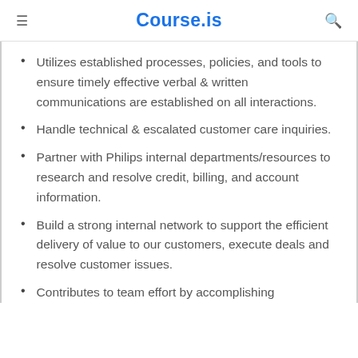Course.is
Utilizes established processes, policies, and tools to ensure timely effective verbal & written communications are established on all interactions.
Handle technical & escalated customer care inquiries.
Partner with Philips internal departments/resources to research and resolve credit, billing, and account information.
Build a strong internal network to support the efficient delivery of value to our customers, execute deals and resolve customer issues.
Contributes to team effort by accomplishing